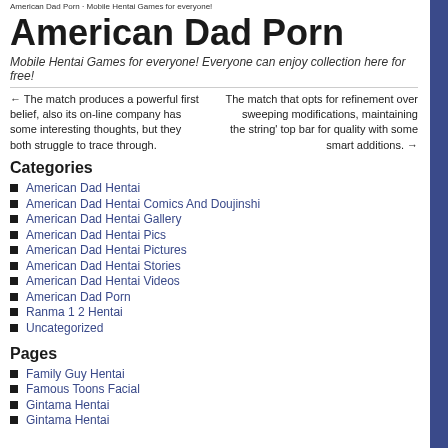American Dad Porn
American Dad Porn
Mobile Hentai Games for everyone! Everyone can enjoy collection here for free!
← The match produces a powerful first belief, also its on-line company has some interesting thoughts, but they both struggle to trace through.
The match that opts for refinement over sweeping modifications, maintaining the string' top bar for quality with some smart additions. →
Categories
American Dad Hentai
American Dad Hentai Comics And Doujinshi
American Dad Hentai Gallery
American Dad Hentai Pics
American Dad Hentai Pictures
American Dad Hentai Stories
American Dad Hentai Videos
American Dad Porn
Ranma 1 2 Hentai
Uncategorized
Pages
Family Guy Hentai
Famous Toons Facial
Gintama Hentai
Gintama Hentai